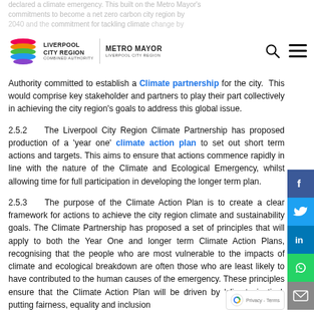declared a climate emergency. This built on the Metro Mayor's commitments to become a net zero carbon city region by 2040 and the commitment for tackling climate change by developing a Climate Action Plan. Furthermore, as a legacy from the 2019 Year of the Environment, the Combined
[Figure (logo): Liverpool City Region Combined Authority logo with rainbow-coloured stacked circles and text]
[Figure (logo): Metro Mayor Liverpool City Region logo]
Authority committed to establish a Climate partnership for the city.  This would comprise key stakeholder and partners to play their part collectively in achieving the city region's goals to address this global issue.
2.5.2    The Liverpool City Region Climate Partnership has proposed production of a 'year one' climate action plan to set out short term actions and targets. This aims to ensure that actions commence rapidly in line with the nature of the Climate and Ecological Emergency, whilst allowing time for full participation in developing the longer term plan.
2.5.3    The purpose of the Climate Action Plan is to create a clear framework for actions to achieve the city region climate and sustainability goals. The Climate Partnership has proposed a set of principles that will apply to both the Year One and longer term Climate Action Plans, recognising that the people who are most vulnerable to the impacts of climate and ecological breakdown are often those who are least likely to have contributed to the human causes of the emergency. These principles ensure that the Climate Action Plan will be driven by 'climate justice', putting fairness, equality and inclusion